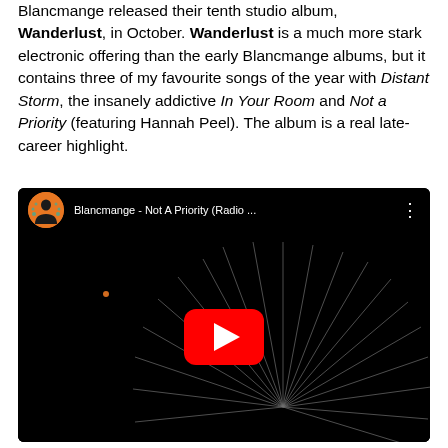Blancmange released their tenth studio album, Wanderlust, in October. Wanderlust is a much more stark electronic offering than the early Blancmange albums, but it contains three of my favourite songs of the year with Distant Storm, the insanely addictive In Your Room and Not a Priority (featuring Hannah Peel). The album is a real late-career highlight.
[Figure (screenshot): YouTube video embed thumbnail for 'Blancmange - Not A Priority (Radio ...)' showing a dark video player with orange channel avatar, video title in the top bar, three-dot menu, and a large red play button over a black background with white sunburst rays emanating from the center.]